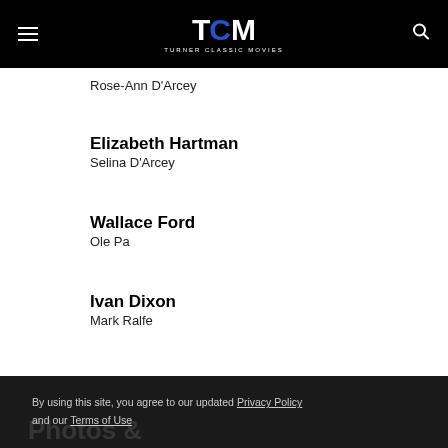TCM TURNER CLASSIC MOVIES
Rose-Ann D'Arcey
Elizabeth Hartman
Selina D'Arcey
Wallace Ford
Ole Pa
Ivan Dixon
Mark Ralfe
By using this site, you agree to our updated Privacy Policy and our Terms of Use